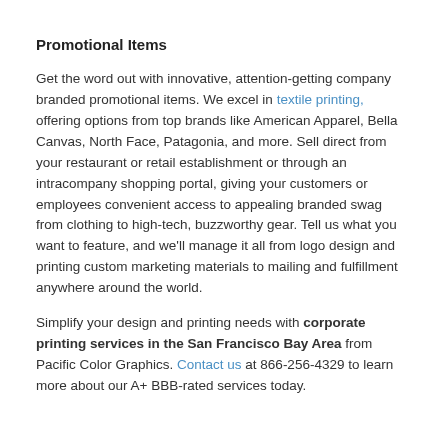Promotional Items
Get the word out with innovative, attention-getting company branded promotional items. We excel in textile printing, offering options from top brands like American Apparel, Bella Canvas, North Face, Patagonia, and more. Sell direct from your restaurant or retail establishment or through an intracompany shopping portal, giving your customers or employees convenient access to appealing branded swag from clothing to high-tech, buzzworthy gear. Tell us what you want to feature, and we'll manage it all from logo design and printing custom marketing materials to mailing and fulfillment anywhere around the world.
Simplify your design and printing needs with corporate printing services in the San Francisco Bay Area from Pacific Color Graphics. Contact us at 866-256-4329 to learn more about our A+ BBB-rated services today.